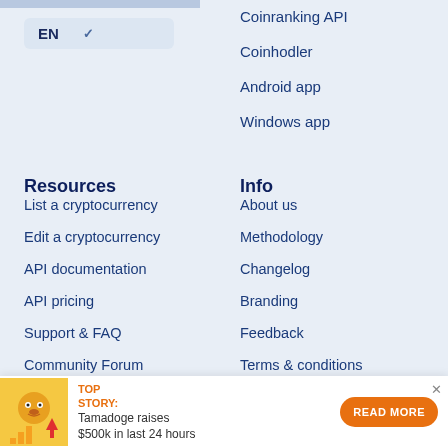Coinranking API
Coinhodler
Android app
Windows app
Resources
List a cryptocurrency
Edit a cryptocurrency
API documentation
API pricing
Support & FAQ
Community Forum
Info
About us
Methodology
Changelog
Branding
Feedback
Terms & conditions
Contact
Social
TOP STORY: Tamadoge raises $500k in last 24 hours